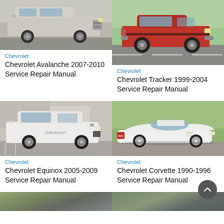[Figure (photo): Silver Chevrolet Avalanche SUV/truck parked in a lot, side view]
Chevrolet
Chevrolet Avalanche 2007-2010 Service Repair Manual
[Figure (photo): Red Chevrolet Tracker SUV on a road, 3/4 front view]
Chevrolet
Chevrolet Tracker 1999-2004 Service Repair Manual
[Figure (photo): White Chevrolet Equinox SUV in a parking lot, 3/4 front view]
Chevrolet
Chevrolet Equinox 2005-2009 Service Repair Manual
[Figure (photo): White Chevrolet Corvette sports car, side profile view]
Chevrolet
Chevrolet Corvette 1990-1996 Service Repair Manual
[Figure (photo): Partial view of car at bottom of page (cropped)]